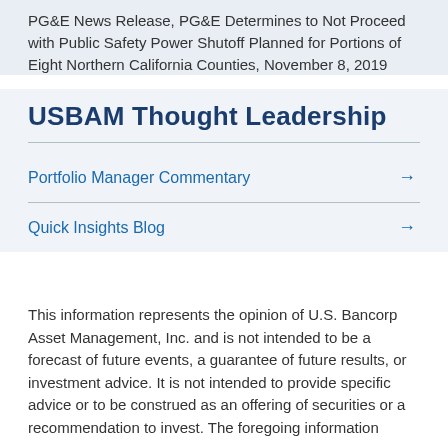PG&E News Release, PG&E Determines to Not Proceed with Public Safety Power Shutoff Planned for Portions of Eight Northern California Counties, November 8, 2019
USBAM Thought Leadership
Portfolio Manager Commentary →
Quick Insights Blog →
This information represents the opinion of U.S. Bancorp Asset Management, Inc. and is not intended to be a forecast of future events, a guarantee of future results, or investment advice. It is not intended to provide specific advice or to be construed as an offering of securities or a recommendation to invest. The foregoing information…